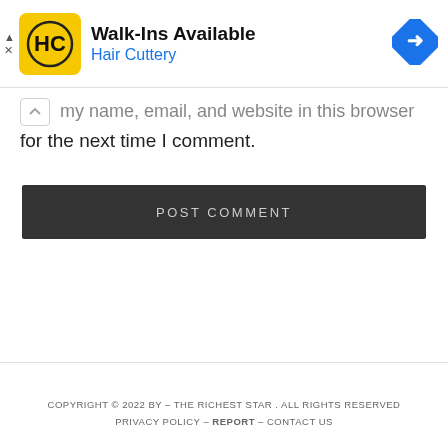[Figure (illustration): Hair Cuttery advertisement banner with yellow HC logo, 'Walk-Ins Available' headline, 'Hair Cuttery' in blue, and a blue diamond navigation icon on the right.]
my name, email, and website in this browser for the next time I comment.
POST COMMENT
COPYRIGHT © 2022 BY – THE RICHEST STAR . ALL RIGHTS RESERVED PRIVACY POLICY – REPORT – CONTACT US